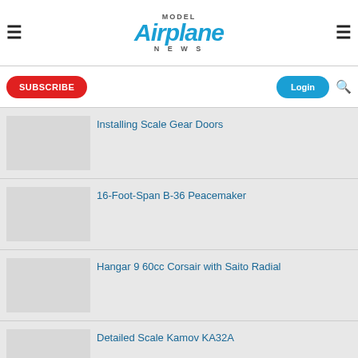Model Airplane News
SUBSCRIBE
Login
Installing Scale Gear Doors
16-Foot-Span B-36 Peacemaker
Hangar 9 60cc Corsair with Saito Radial
Detailed Scale Kamov KA32A